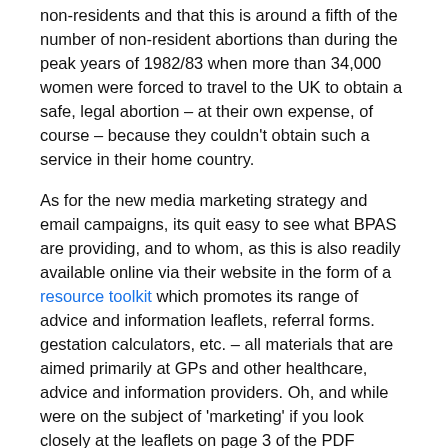non-residents and that this is around a fifth of the number of non-resident abortions than during the peak years of 1982/83 when more than 34,000 women were forced to travel to the UK to obtain a safe, legal abortion – at their own expense, of course – because they couldn't obtain such a service in their home country.
As for the new media marketing strategy and email campaigns, its quit easy to see what BPAS are providing, and to whom, as this is also readily available online via their website in the form of a resource toolkit which promotes its range of advice and information leaflets, referral forms. gestation calculators, etc. – all materials that are aimed primarily at GPs and other healthcare, advice and information providers. Oh, and while were on the subject of 'marketing' if you look closely at the leaflets on page 3 of the PDF document (by zooming in) you'll see that we can readily off another of Dorries's favourite myths as the top leaflet is called 'Unplanned Pregnancy, Your Choices', the text of which includes the following statement: